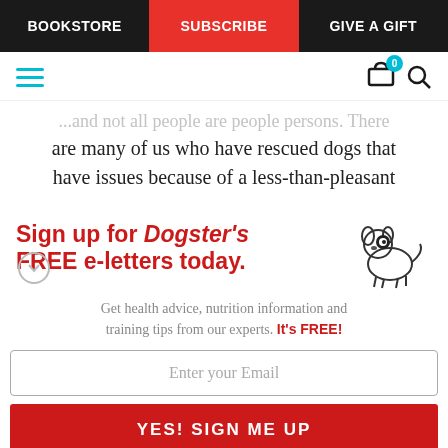BOOKSTORE | SUBSCRIBE | GIVE A GIFT
...and not all people are people persons. There are many of us who have rescued dogs that have issues because of a less-than-pleasant
Sign up for Dogster's FREE e-letters today. Get health advice, nutrition information and training tips from our experts. It's FREE!